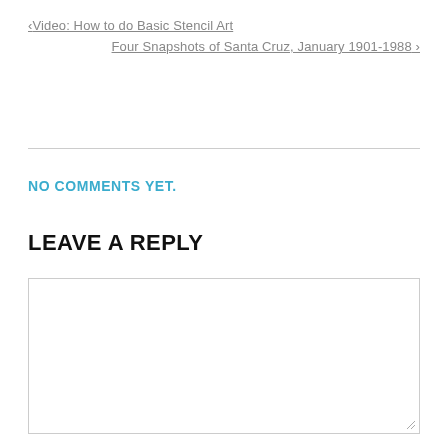< Video: How to do Basic Stencil Art
Four Snapshots of Santa Cruz, January 1901-1988 >
NO COMMENTS YET.
LEAVE A REPLY